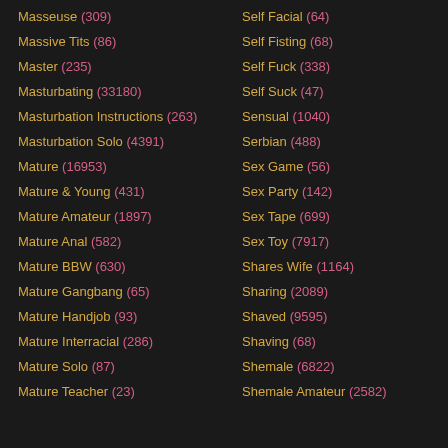Masseuse (309)
Massive Tits (86)
Master (235)
Masturbating (33180)
Masturbation Instructions (263)
Masturbation Solo (4391)
Mature (16953)
Mature & Young (431)
Mature Amateur (1897)
Mature Anal (582)
Mature BBW (630)
Mature Gangbang (65)
Mature Handjob (93)
Mature Interracial (286)
Mature Solo (87)
Mature Teacher (23)
Self Facial (64)
Self Fisting (68)
Self Fuck (338)
Self Suck (47)
Sensual (1040)
Serbian (488)
Sex Game (56)
Sex Party (142)
Sex Tape (699)
Sex Toy (7917)
Shares Wife (1164)
Sharing (2089)
Shaved (9595)
Shaving (68)
Shemale (6822)
Shemale Amateur (2582)